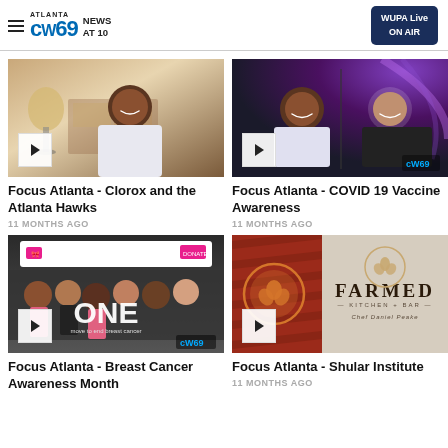Atlanta CW69 News At 10 | WUPA Live ON AIR
[Figure (screenshot): Video thumbnail: woman smiling in home office setting, play button overlay]
Focus Atlanta - Clorox and the Atlanta Hawks
11 MONTHS AGO
[Figure (screenshot): Video thumbnail: two women in split screen video call with CW69 watermark, play button overlay]
Focus Atlanta - COVID 19 Vaccine Awareness
11 MONTHS AGO
[Figure (screenshot): Video thumbnail: breast cancer awareness with ONE text overlay, group photo, CW69 watermark, play button overlay]
Focus Atlanta - Breast Cancer Awareness Month
[Figure (screenshot): Video thumbnail: Farmed Kitchen and Bar logo with terracotta and beige background, play button overlay]
Focus Atlanta - Shular Institute
11 MONTHS AGO